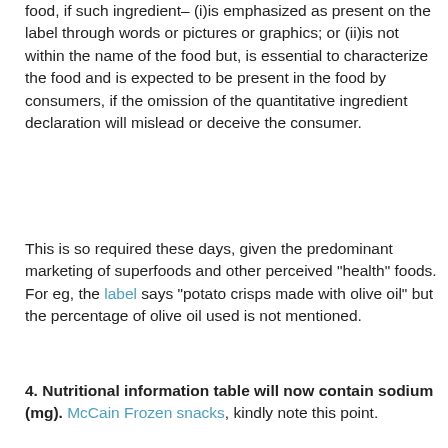food, if such ingredient– (i)is emphasized as present on the label through words or pictures or graphics; or (ii)is not within the name of the food but, is essential to characterize the food and is expected to be present in the food by consumers, if the omission of the quantitative ingredient declaration will mislead or deceive the consumer.
This is so required these days, given the predominant marketing of superfoods and other perceived "health" foods. For eg, the label says "potato crisps made with olive oil" but the percentage of olive oil used is not mentioned.
4. Nutritional information table will now contain sodium (mg). McCain Frozen snacks, kindly note this point.